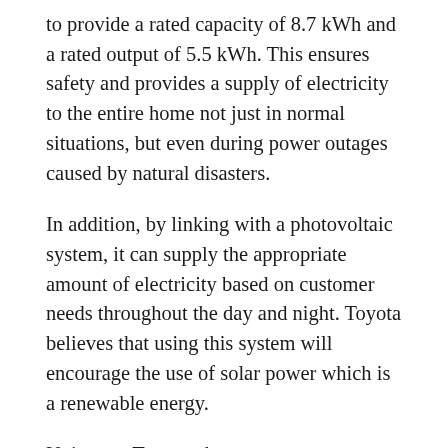to provide a rated capacity of 8.7 kWh and a rated output of 5.5 kWh. This ensures safety and provides a supply of electricity to the entire home not just in normal situations, but even during power outages caused by natural disasters.
In addition, by linking with a photovoltaic system, it can supply the appropriate amount of electricity based on customer needs throughout the day and night. Toyota believes that using this system will encourage the use of solar power which is a renewable energy.
Unique to Toyota, the system supports supplying power(2) from electrified vehicles (HEV, PHEV, BEV, FCEV) at 100V AC, and can use electricity stored in electrified vehicles as a backup power source during